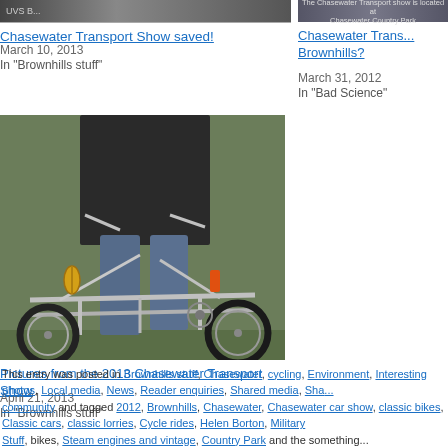[Figure (photo): Photo of a transport vehicle at Chasewater Transport Show (top left, partially visible)]
Chasewater Transport Show saved!
March 10, 2013
In "Brownhills stuff"
[Figure (photo): Small photo at top right showing Chasewater Country Park sign (partially visible)]
Chasewater Trans... Brownhills?
March 31, 2012
In "Bad Science"
[Figure (photo): Photo of a custom low-riding bicycle/tandem bike at the 2013 Chasewater Transport Show, person standing behind it on grass]
Pictures from the 2013 Chasewater Transport Show
April 21, 2013
In "Brownhills stuff"
This entry was posted in Brownhills stuff, Chasewater, cycling, Environment, Interesting photos, Local media, News, Reader enquiries, Shared media, Sha... community and tagged 2012, Brownhills, Chasewater, Chasewater car show, classic bikes, Classic cars, classic lorries, Cycle rides, Helen Borton, Military Stuff, bikes, Steam engines and vintage, Country Park and the something...